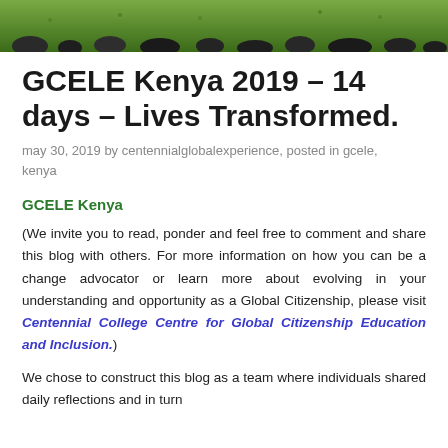[Figure (photo): Outdoor photo strip showing grass and rocks in Kenya landscape]
GCELE Kenya 2019 – 14 days – Lives Transformed.
may 30, 2019 by centennialglobalexperience, posted in gcele, kenya
GCELE Kenya
(We invite you to read, ponder and feel free to comment and share this blog with others. For more information on how you can be a change advocator or learn more about evolving in your understanding and opportunity as a Global Citizenship, please visit Centennial College Centre for Global Citizenship Education and Inclusion.)
We chose to construct this blog as a team where individuals shared daily reflections and in turn